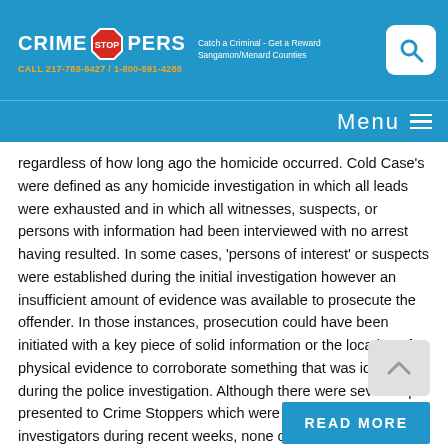Crime Stoppers — Catch a Criminal Get a Reward Sangamon/Menard Counties — CALL 217-788-8427 / 1-800-591-4288
regardless of how long ago the homicide occurred. Cold Case’s were defined as any homicide investigation in which all leads were exhausted and in which all witnesses, suspects, or persons with information had been interviewed with no arrest having resulted. In some cases, ‘persons of interest’ or suspects were established during the initial investigation however an insufficient amount of evidence was available to prosecute the offender. In those instances, prosecution could have been initiated with a key piece of solid information or the location of physical evidence to corroborate something that was identified during the police investigation. Although there were several tips presented to Crime Stoppers which were forwarded to investigators during recent weeks, none of the tips wielded new information sufficient to close a case. With this one month extension of the program, we are hoping that somehow new leads will materialize.